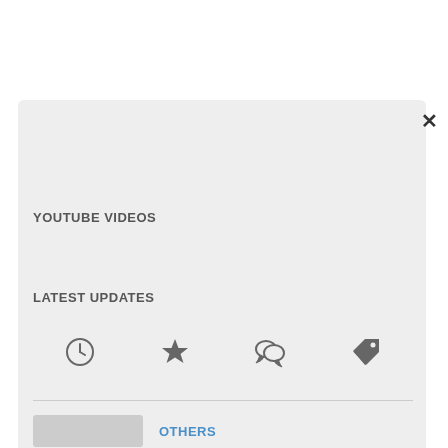[Figure (screenshot): UI panel with close button (×), gray background area, YOUTUBE VIDEOS section header, LATEST UPDATES section header with four icons (clock, star, chat, tag), a horizontal divider, and an OTHERS label with a gray button placeholder at the bottom.]
YOUTUBE VIDEOS
LATEST UPDATES
OTHERS